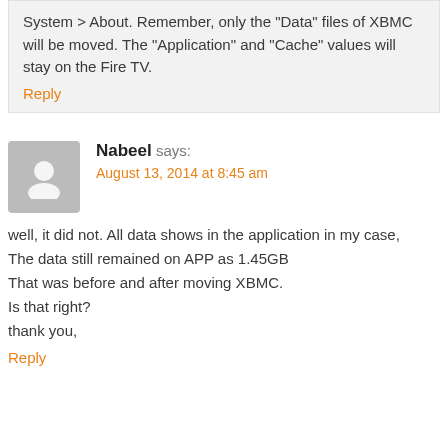System > About. Remember, only the "Data" files of XBMC will be moved. The "Application" and "Cache" values will stay on the Fire TV.
Reply
Nabeel says:
August 13, 2014 at 8:45 am
well, it did not. All data shows in the application in my case, The data still remained on APP as 1.45GB That was before and after moving XBMC. Is that right? thank you,
Reply